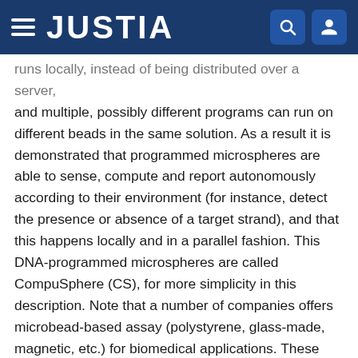JUSTIA
runs locally, instead of being distributed over a server, and multiple, possibly different programs can run on different beads in the same solution. As a result it is demonstrated that programmed microspheres are able to sense, compute and report autonomously according to their environment (for instance, detect the presence or absence of a target strand), and that this happens locally and in a parallel fashion. This DNA-programmed microspheres are called CompuSphere (CS), for more simplicity in this description. Note that a number of companies offers microbead-based assay (polystyrene, glass-made, magnetic, etc.) for biomedical applications. These beads are typically functionalized with a specific probe (antibody, nucleic acid strand) and their exposure to the sample containing the target (protein, analytes, DNA or RNA sequence, etc.) results in binding of the target, followed by an optical or electrochemical